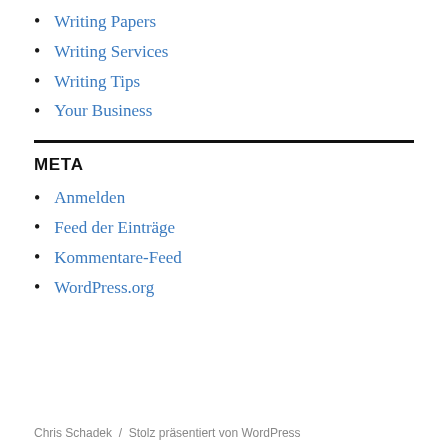Writing Papers
Writing Services
Writing Tips
Your Business
META
Anmelden
Feed der Einträge
Kommentare-Feed
WordPress.org
Chris Schadek / Stolz präsentiert von WordPress